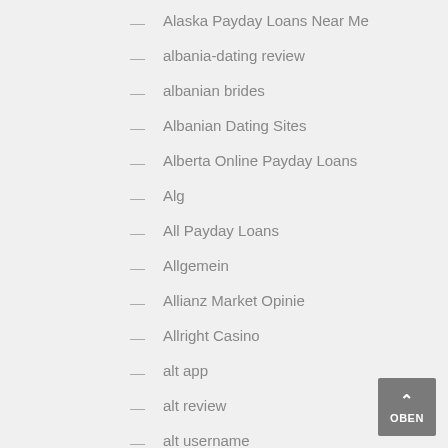— Alaska Payday Loans Near Me
— albania-dating review
— albanian brides
— Albanian Dating Sites
— Alberta Online Payday Loans
— Alg
— All Payday Loans
— Allgemein
— Allianz Market Opinie
— Allright Casino
— alt app
— alt review
— alt username